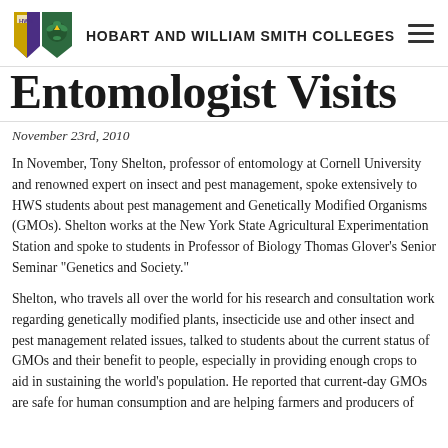HOBART AND WILLIAM SMITH COLLEGES
Entomologist Visits
November 23rd, 2010
In November, Tony Shelton, professor of entomology at Cornell University and renowned expert on insect and pest management, spoke extensively to HWS students about pest management and Genetically Modified Organisms (GMOs). Shelton works at the New York State Agricultural Experimentation Station and spoke to students in Professor of Biology Thomas Glover’s Senior Seminar “Genetics and Society.”
Shelton, who travels all over the world for his research and consultation work regarding genetically modified plants, insecticide use and other insect and pest management related issues, talked to students about the current status of GMOs and their benefit to people, especially in providing enough crops to aid in sustaining the world’s population. He reported that current-day GMOs are safe for human consumption and are helping farmers and producers of agriculture worldwide offer their biggest possible...